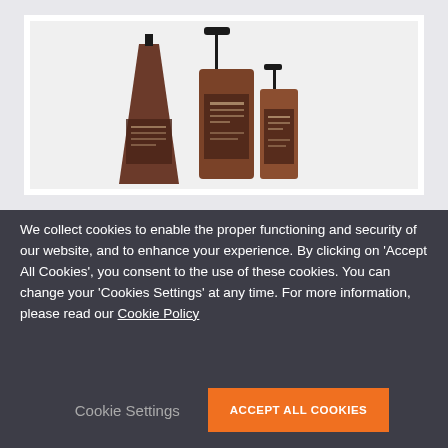[Figure (photo): Three amber/brown glass cosmetic/skincare product bottles of different sizes and shapes displayed against a light gray background. Left bottle is tall and tapered, middle bottle is medium with a pump dispenser, right bottle is small with a spray nozzle.]
We collect cookies to enable the proper functioning and security of our website, and to enhance your experience. By clicking on 'Accept All Cookies', you consent to the use of these cookies. You can change your 'Cookies Settings' at any time. For more information, please read our Cookie Policy
Cookie Settings
ACCEPT ALL COOKIES